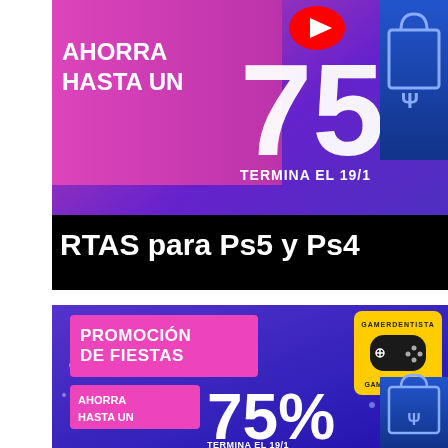[Figure (screenshot): YouTube thumbnail showing PlayStation Store holiday promotion: 'AHORRA HASTA UN 75%' with 'TERMINA EL 19/1', title overlay reads 'RTAS para Ps5 y Ps4', YouTube logo visible, PlayStation Store bag icon top right]
[Figure (screenshot): PlayStation Store holiday promotion banner: 'PROMOCIÓN DE FIESTAS', 'AHORRA HASTA UN 75%', 'TERMINA EL 19/1', GamerDentista logo (yellow badge with gamepad) top right, PlayStation Store bag icon bottom right]